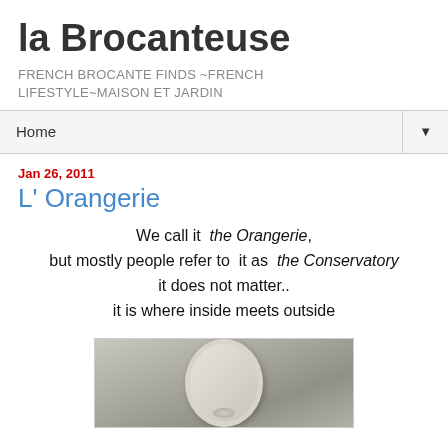la Brocanteuse
FRENCH BROCANTE FINDS ~FRENCH LIFESTYLE~MAISON ET JARDIN
Home
Jan 26, 2011
L' Orangerie
We call it the Orangerie, but mostly people refer to it as the Conservatory it does not matter.. it is where inside meets outside
[Figure (photo): A silver/grey ornate oval picture frame with a fabric bow or knot detail at the bottom, photographed against a neutral grey background.]